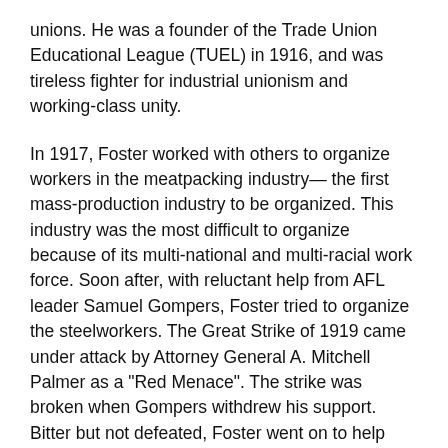unions. He was a founder of the Trade Union Educational League (TUEL) in 1916, and was tireless fighter for industrial unionism and working-class unity.
In 1917, Foster worked with others to organize workers in the meatpacking industry— the first mass-production industry to be organized. This industry was the most difficult to organize because of its multi-national and multi-racial work force. Soon after, with reluctant help from AFL leader Samuel Gompers, Foster tried to organize the steelworkers. The Great Strike of 1919 came under attack by Attorney General A. Mitchell Palmer as a "Red Menace". The strike was broken when Gompers withdrew his support. Bitter but not defeated, Foster went on to help organize for the United Mine Workers.
In 1921, Foster became a member of the CPUSA and was it's candidate for president in 1924, 1928 and 1932. He played a leading role in the CPUSA for many years, and